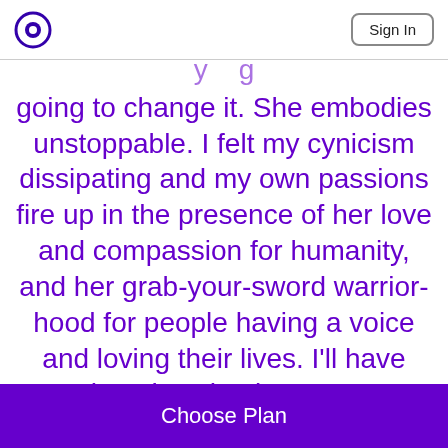Sign In
going to change it. She embodies unstoppable. I felt my cynicism dissipating and my own passions fire up in the presence of her love and compassion for humanity, and her grab-your-sword warrior-hood for people having a voice and loving their lives. I'll have what she's having. Wow!
Choose Plan